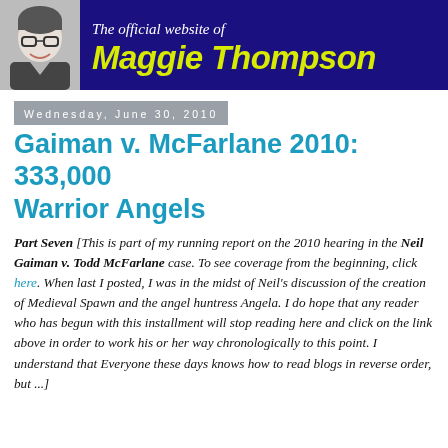The official website of Maggie Thompson
Wednesday, June 30, 2010
Gaiman v. McFarlane 2010: 333,000 Warrior Angels
Part Seven [This is part of my running report on the 2010 hearing in the Neil Gaiman v. Todd McFarlane case. To see coverage from the beginning, click here. When last I posted, I was in the midst of Neil's discussion of the creation of Medieval Spawn and the angel huntress Angela. I do hope that any reader who has begun with this installment will stop reading here and click on the link above in order to work his or her way chronologically to this point. I understand that Everyone these days knows how to read blogs in reverse order, but ...]